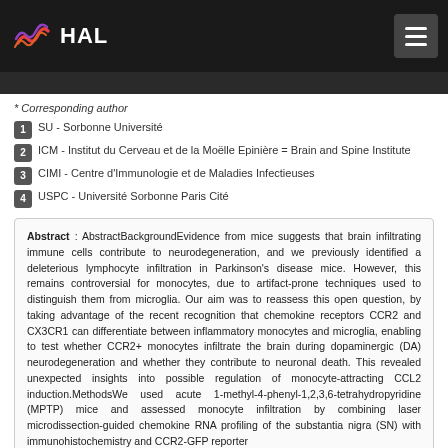[Figure (logo): HAL open archive logo with colorful wave icon and white HAL text on dark background, plus hamburger menu button]
* Corresponding author
1  SU - Sorbonne Université
2  ICM - Institut du Cerveau et de la Moëlle Epinière = Brain and Spine Institute
3  CIMI - Centre d'Immunologie et de Maladies Infectieuses
4  USPC - Université Sorbonne Paris Cité
Abstract : AbstractBackgroundEvidence from mice suggests that brain infiltrating immune cells contribute to neurodegeneration, and we previously identified a deleterious lymphocyte infiltration in Parkinson's disease mice. However, this remains controversial for monocytes, due to artifact-prone techniques used to distinguish them from microglia. Our aim was to reassess this open question, by taking advantage of the recent recognition that chemokine receptors CCR2 and CX3CR1 can differentiate between inflammatory monocytes and microglia, enabling to test whether CCR2+ monocytes infiltrate the brain during dopaminergic (DA) neurodegeneration and whether they contribute to neuronal death. This revealed unexpected insights into possible regulation of monocyte-attracting CCL2 induction.MethodsWe used acute 1-methyl-4-phenyl-1,2,3,6-tetrahydropyridine (MPTP) mice and assessed monocyte infiltration by combining laser microdissection-guided chemokine RNA profiling of the substantia nigra (SN) with immunohistochemistry and CCR2-GFP reporter